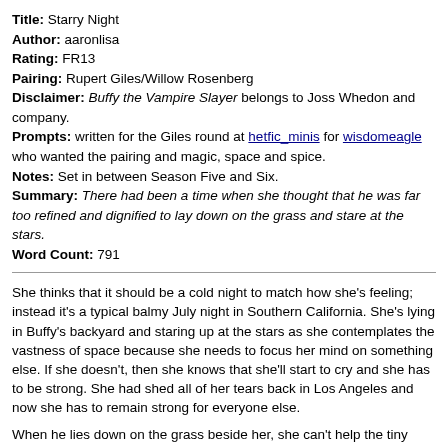Title: Starry Night
Author: aaronlisa
Rating: FR13
Pairing: Rupert Giles/Willow Rosenberg
Disclaimer: Buffy the Vampire Slayer belongs to Joss Whedon and company.
Prompts: written for the Giles round at hetfic_minis for wisdomeagle who wanted the pairing and magic, space and spice.
Notes: Set in between Season Five and Six.
Summary: There had been a time when she thought that he was far too refined and dignified to lay down on the grass and stare at the stars.
Word Count: 791
She thinks that it should be a cold night to match how she's feeling; instead it's a typical balmy July night in Southern California. She's lying in Buffy's backyard and staring up at the stars as she contemplates the vastness of space because she needs to focus her mind on something else. If she doesn't, then she knows that she'll start to cry and she has to be strong. She had shed all of her tears back in Los Angeles and now she has to remain strong for everyone else.
When he lies down on the grass beside her, she can't help the tiny giggle that escapes her. There had been a time when she thought that he was far too refined and dignified to lay down on the grass and stare at the stars. Now she knows better, she knows that beneath the many layers of tweed and starched shirts, he was and is still just a man. He sighs at her giggle but doesn't say anything.